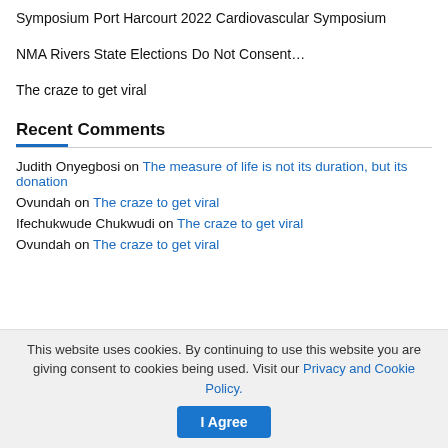Symposium
Port Harcourt 2022 Cardiovascular Symposium
NMA Rivers State Elections
Do Not Consent…
The craze to get viral
Recent Comments
Judith Onyegbosi on The measure of life is not its duration, but its donation
Ovundah on The craze to get viral
Ifechukwude Chukwudi on The craze to get viral
Ovundah on The craze to get viral
This website uses cookies. By continuing to use this website you are giving consent to cookies being used. Visit our Privacy and Cookie Policy.